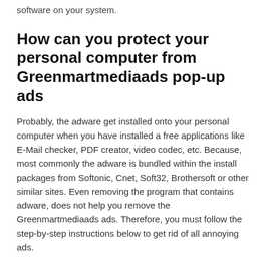software on your system.
How can you protect your personal computer from Greenmartmediaads pop-up ads
Probably, the adware get installed onto your personal computer when you have installed a free applications like E-Mail checker, PDF creator, video codec, etc. Because, most commonly the adware is bundled within the install packages from Softonic, Cnet, Soft32, Brothersoft or other similar sites. Even removing the program that contains adware, does not help you remove the Greenmartmediaads ads. Therefore, you must follow the step-by-step instructions below to get rid of all annoying ads.